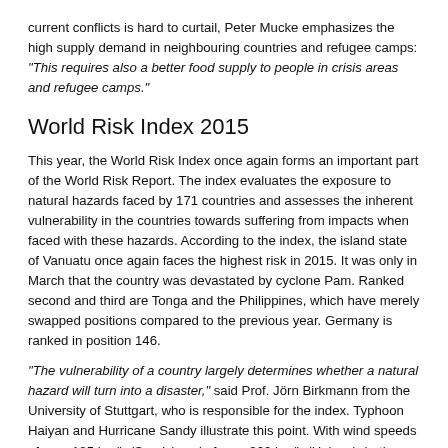current conflicts is hard to curtail, Peter Mucke emphasizes the high supply demand in neighbouring countries and refugee camps: "This requires also a better food supply to people in crisis areas and refugee camps."
World Risk Index 2015
This year, the World Risk Index once again forms an important part of the World Risk Report. The index evaluates the exposure to natural hazards faced by 171 countries and assesses the inherent vulnerability in the countries towards suffering from impacts when faced with these hazards. According to the index, the island state of Vanuatu once again faces the highest risk in 2015. It was only in March that the country was devastated by cyclone Pam. Ranked second and third are Tonga and the Philippines, which have merely swapped positions compared to the previous year. Germany is ranked in position 146.
"The vulnerability of a country largely determines whether a natural hazard will turn into a disaster," said Prof. Jörn Birkmann from the University of Stuttgart, who is responsible for the index. Typhoon Haiyan and Hurricane Sandy illustrate this point. With wind speeds of over 185 km/h (Sandy) and of over 300 km/h (Haiyan), both storms